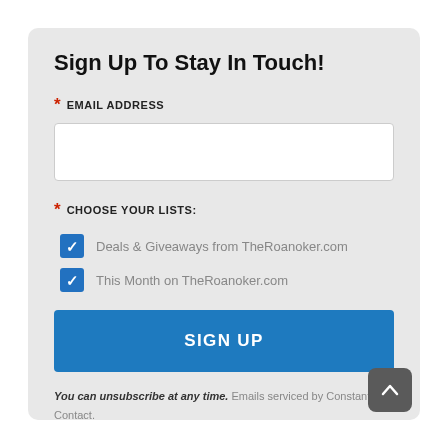Sign Up To Stay In Touch!
* EMAIL ADDRESS
* CHOOSE YOUR LISTS:
Deals & Giveaways from TheRoanoker.com
This Month on TheRoanoker.com
SIGN UP
You can unsubscribe at any time. Emails serviced by Constant Contact.